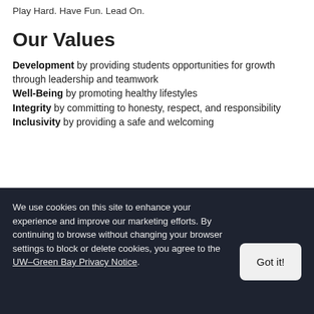Play Hard. Have Fun. Lead On.
Our Values
Development by providing students opportunities for growth through leadership and teamwork
Well-Being by promoting healthy lifestyles
Integrity by committing to honesty, respect, and responsibility
Inclusivity by providing a safe and welcoming
We use cookies on this site to enhance your experience and improve our marketing efforts. By continuing to browse without changing your browser settings to block or delete cookies, you agree to the UW–Green Bay Privacy Notice.